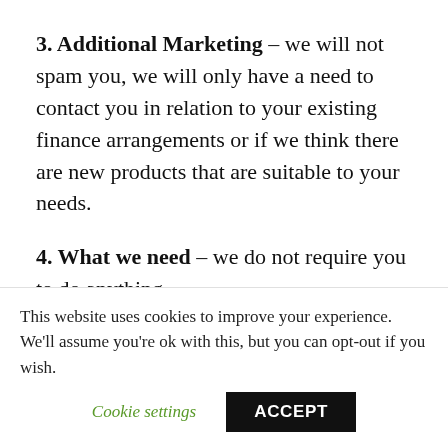3. Additional Marketing – we will not spam you, we will only have a need to contact you in relation to your existing finance arrangements or if we think there are new products that are suitable to your needs.
4. What we need – we do not require you to do anything.
5. We also gather – Information TAFCO hold we document what personal data TAFCO
This website uses cookies to improve your experience. We'll assume you're ok with this, but you can opt-out if you wish.
Cookie settings   ACCEPT